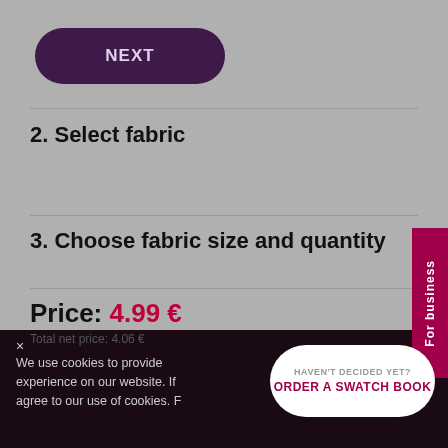[Figure (screenshot): Purple pill-shaped NEXT button]
2. Select fabric
3. Choose fabric size and quantity
Price: 4.99 €
Total net price: 4.06 €
For business
×
We use cookies to provide experience on our website. If agree to our use of cookies. F
HAVEN'T DECIDED YET? ORDER A SWATCH BOOK